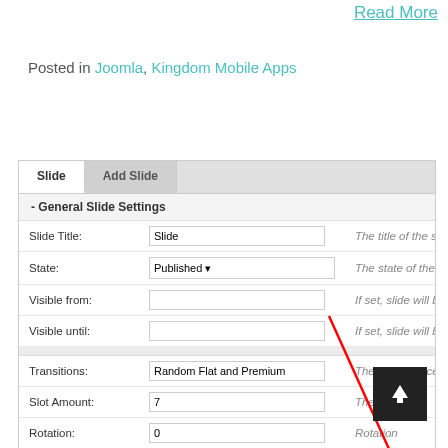Read More
Posted in Joomla, Kingdom Mobile Apps
[Figure (screenshot): Screenshot of a Joomla/WordPress-style slide settings UI with tabs (Slide, Add Slide), General Slide Settings section, form fields: Slide Title (value: Slide), State (Published dropdown), Visible from, Visible until, Transitions (Random Flat and Premium), Slot Amount (7), Rotation (0), Transition Duration (300). A black square button with white up-arrow and a red diagonal line overlay are visible in the bottom-right area.]